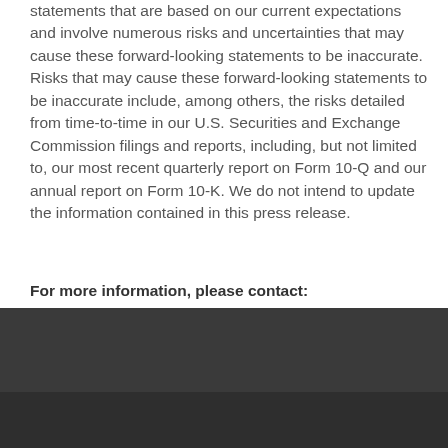statements that are based on our current expectations and involve numerous risks and uncertainties that may cause these forward-looking statements to be inaccurate. Risks that may cause these forward-looking statements to be inaccurate include, among others, the risks detailed from time-to-time in our U.S. Securities and Exchange Commission filings and reports, including, but not limited to, our most recent quarterly report on Form 10-Q and our annual report on Form 10-K. We do not intend to update the information contained in this press release.
For more information, please contact:
This site uses cookies. Please see our Privacy Policy to learn more about how we use cookies and how to change your settings if you do not want cookies on your computer. By continuing to use this site without changing your cookies settings, you consent to the use of our cookies.
ACCEPT AND CLOSE